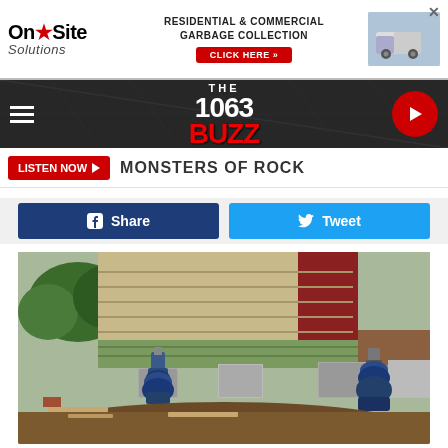[Figure (other): On★Site Solutions advertisement banner - Residential & Commercial Garbage Collection with CLICK HERE button and garbage truck image]
[Figure (screenshot): The 1063 Buzz radio station navigation bar with hamburger menu, logo, and play button]
LISTEN NOW ▶   MONSTERS OF ROCK
f Share    🐦 Tweet
[Figure (photo): Construction photo showing hydraulic jacks lifting a wooden house structure with cinder block supports, wood siding visible, outdoor setting with dirt and trees in background]